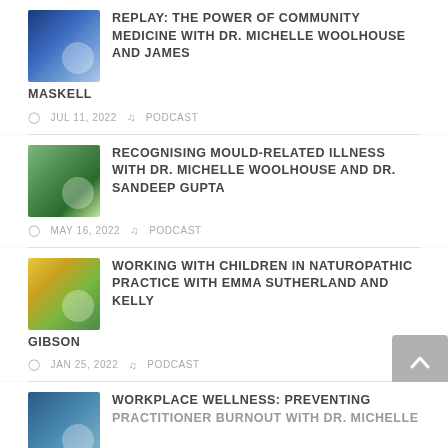[Figure (photo): Podcast thumbnail for Power of Community Medicine episode]
REPLAY: THE POWER OF COMMUNITY MEDICINE WITH DR. MICHELLE WOOLHOUSE AND JAMES MASKELL
JUL 11, 2022  PODCAST
[Figure (photo): Podcast thumbnail for Recognising Mould-Related Illness episode]
RECOGNISING MOULD-RELATED ILLNESS WITH DR. MICHELLE WOOLHOUSE AND DR. SANDEEP GUPTA
MAY 16, 2022  PODCAST
[Figure (photo): Podcast thumbnail for Working With Children in Naturopathic Practice episode]
WORKING WITH CHILDREN IN NATUROPATHIC PRACTICE WITH EMMA SUTHERLAND AND KELLY GIBSON
JAN 25, 2022  PODCAST
[Figure (photo): Podcast thumbnail for Workplace Wellness episode]
WORKPLACE WELLNESS: PREVENTING PRACTITIONER BURNOUT WITH DR. MICHELLE